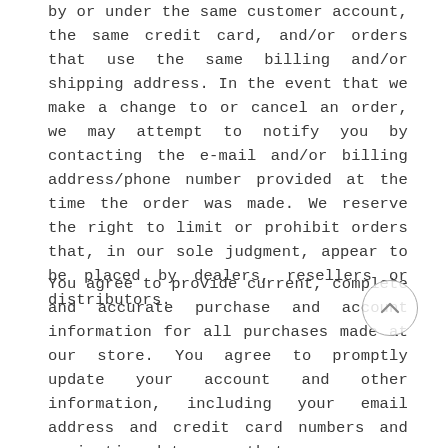by or under the same customer account, the same credit card, and/or orders that use the same billing and/or shipping address. In the event that we make a change to or cancel an order, we may attempt to notify you by contacting the e-mail and/or billing address/phone number provided at the time the order was made. We reserve the right to limit or prohibit orders that, in our sole judgment, appear to be placed by dealers, resellers or distributors.
You agree to provide current, complete and accurate purchase and account information for all purchases made at our store. You agree to promptly update your account and other information, including your email address and credit card numbers and expiration dates, so that we can